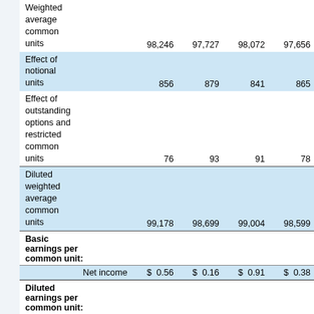|  | Col1 | Col2 | Col3 | Col4 |
| --- | --- | --- | --- | --- |
| Weighted average common units | 98,246 | 97,727 | 98,072 | 97,656 |
| Effect of notional units | 856 | 879 | 841 | 865 |
| Effect of outstanding options and restricted common units | 76 | 93 | 91 | 78 |
| Diluted weighted average common units | 99,178 | 98,699 | 99,004 | 98,599 |
| Basic earnings per common unit: |  |  |  |  |
| Net income | $ 0.56 | $ 0.16 | $ 0.91 | $ 0.38 |
| Diluted earnings per common unit: |  |  |  |  |
| Net income | $ 0.56 | $ 0.16 | $ 0.90 | $ 0.37 |